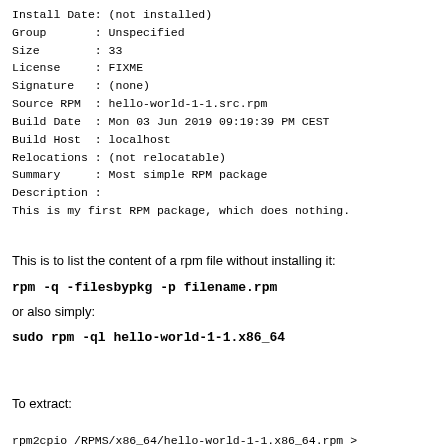Install Date: (not installed)
Group       : Unspecified
Size        : 33
License     : FIXME
Signature   : (none)
Source RPM  : hello-world-1-1.src.rpm
Build Date  : Mon 03 Jun 2019 09:19:39 PM CEST
Build Host  : localhost
Relocations : (not relocatable)
Summary     : Most simple RPM package
Description :
This is my first RPM package, which does nothing.
This is to list the content of a rpm file without installing it:
rpm -q -filesbypkg -p filename.rpm
or also simply:
sudo rpm -ql hello-world-1-1.x86_64
To extract:
rpm2cpio /RPMS/x86_64/hello-world-1-1.x86_64.rpm >